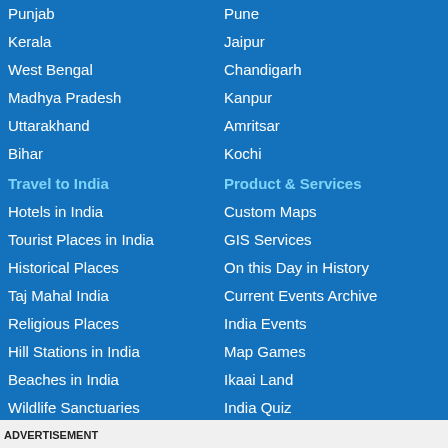Punjab
Kerala
West Bengal
Madhya Pradesh
Uttarakhand
Bihar
Travel to India
Hotels in India
Tourist Places in India
Historical Places
Taj Mahal India
Religious Places
Hill Stations in India
Beaches in India
Wildlife Sanctuaries
Monuments of India
Government Schemes
Pune
Jaipur
Chandigarh
Kanpur
Amritsar
Kochi
Product & Services
Custom Maps
GIS Services
On this Day in History
Current Events Archive
India Events
Map Games
Ikaai Land
India Quiz
I Know My India Game
ADVERTISEMENT